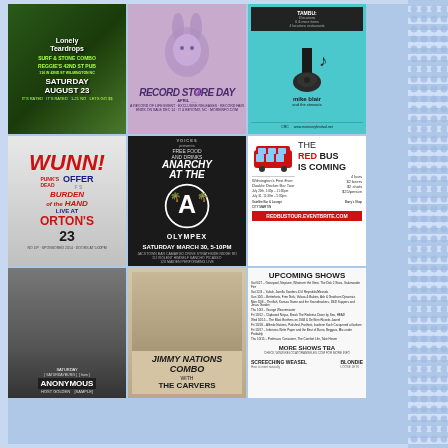[Figure (photo): Concert poster: Lonely Teardrops / Carvers, Reggies 42nd St Pub, Saturday August 23, green background with illustrated figures]
[Figure (photo): Record Store Day promotional poster with purple bunny illustration]
[Figure (photo): Mike Blair and the Stewarts concert poster, teal background with guitar and musical note graphics, CRC logo]
[Figure (photo): WUNN! concert poster featuring text: OFFER, BURDEN of the HAND, Live at Ortons, Aug 23]
[Figure (photo): Anarchy at the Olympex flyer, black background, Saturday March 30, 5-10PM, DJ Violent Himself, Sancho Picasso]
[Figure (photo): The Red Bus Is Coming - Wilmington's First Ever Double Decker Bar Tour event flyer, white background, 4 bars, $2 beers, $2 shots, $25/person, redbustour.eventbrite.com]
[Figure (photo): Anonymous event poster with bird photography, Saturday, Host Golden]
[Figure (photo): Jimmy Nations Combo with The Carvers concert poster]
[Figure (photo): Upcoming Shows listing with multiple dates, More Shows TBA, Screeching Weasel, Blondie, Loose Jets]